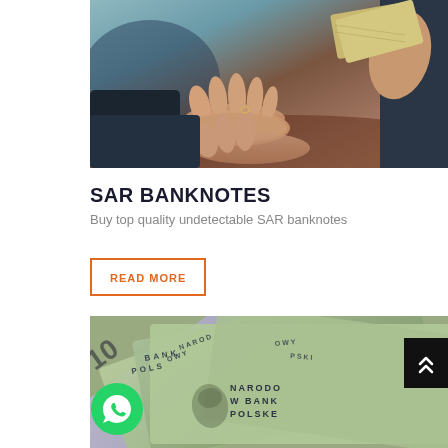[Figure (photo): Photo of hands open and outstretched, with banknotes being passed, on a reddish-brown outdoor background]
SAR BANKNOTES
Buy top quality undetectable SAR banknotes
READ MORE
[Figure (photo): Photo of Polish zloty banknotes (Narodowy Bank Polski) fanned out, showing green and purple notes]
[Figure (logo): WhatsApp icon - green circle with white phone handset]